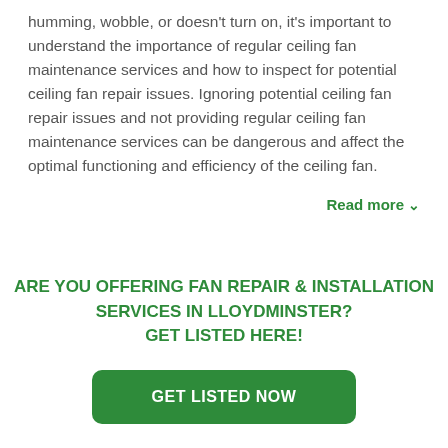humming, wobble, or doesn't turn on, it's important to understand the importance of regular ceiling fan maintenance services and how to inspect for potential ceiling fan repair issues. Ignoring potential ceiling fan repair issues and not providing regular ceiling fan maintenance services can be dangerous and affect the optimal functioning and efficiency of the ceiling fan.
Read more ∨
ARE YOU OFFERING FAN REPAIR & INSTALLATION SERVICES IN LLOYDMINSTER? GET LISTED HERE!
GET LISTED NOW